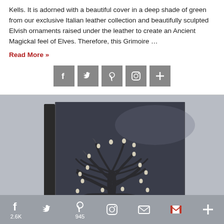Kells. It is adorned with a beautiful cover in a deep shade of green from our exclusive Italian leather collection and beautifully sculpted Elvish ornaments raised under the leather to create an Ancient Magickal feel of Elves. Therefore, this Grimoire …
Read More »
[Figure (other): Social sharing buttons row: Facebook, Twitter, Pinterest, Instagram, and a plus/more button, each in a grey square icon]
[Figure (photo): Close-up photograph of a dark green/black leather-bound book with a sculpted tree of life ornament raised under the leather cover, showing intricate branch and leaf details with small heart-shaped accents]
[Figure (other): Bottom mobile sharing bar with icons for Facebook (2.6K), Twitter, Pinterest (945), Instagram, Email, Gmail, and a plus button on a grey background]